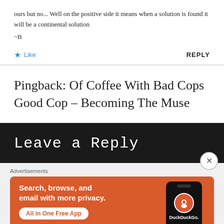ours but no... Well on the positive side it means when a solution is found it will be a continental solution
~B
Like   REPLY
Pingback: Of Coffee With Bad Cops Good Cop – Becoming The Muse
Leave a Reply
Advertisements
[Figure (screenshot): DuckDuckGo advertisement banner with orange background. Text reads 'Search, browse, and email with more privacy. All in One Free App' with DuckDuckGo logo and phone mockup.]